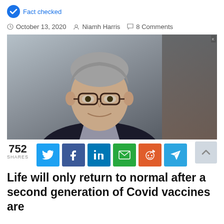Fact checked
October 13, 2020   Niamh Harris   8 Comments
[Figure (photo): Portrait photo of an older man with glasses, gray hair, wearing a dark sweater, smiling slightly, with a blurred background]
752 SHARES
Life will only return to normal after a second generation of Covid vaccines are